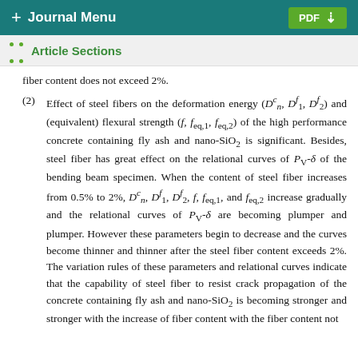+ Journal Menu  PDF ↓
Article Sections
fiber content does not exceed 2%.
(2) Effect of steel fibers on the deformation energy (D^c_n, D^f_1, D^f_2) and (equivalent) flexural strength (f, f_eq,1, f_eq,2) of the high performance concrete containing fly ash and nano-SiO2 is significant. Besides, steel fiber has great effect on the relational curves of P_V-δ of the bending beam specimen. When the content of steel fiber increases from 0.5% to 2%, D^c_n, D^f_1, D^f_2, f, f_eq,1, and f_eq,2 increase gradually and the relational curves of P_V-δ are becoming plumper and plumper. However these parameters begin to decrease and the curves become thinner and thinner after the steel fiber content exceeds 2%. The variation rules of these parameters and relational curves indicate that the capability of steel fiber to resist crack propagation of the concrete containing fly ash and nano-SiO2 is becoming stronger and stronger with the increase of fiber content with the fiber content not